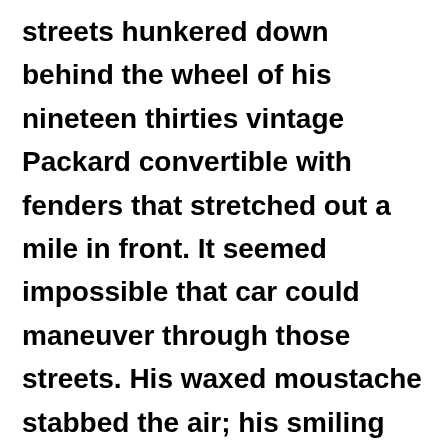streets hunkered down behind the wheel of his nineteen thirties vintage Packard convertible with fenders that stretched out a mile in front. It seemed impossible that car could maneuver through those streets. His waxed moustache stabbed the air; his smiling teeth clamped down on his cigarette holder. A Panama hat completed the look of total gangster chic. Paco had seen all the American movies